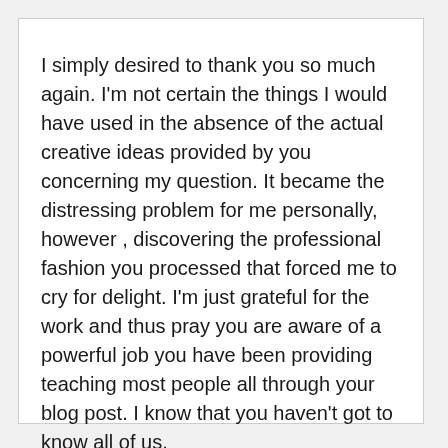I simply desired to thank you so much again. I'm not certain the things I would have used in the absence of the actual creative ideas provided by you concerning my question. It became the distressing problem for me personally, however , discovering the professional fashion you processed that forced me to cry for delight. I'm just grateful for the work and thus pray you are aware of a powerful job you have been providing teaching most people all through your blog post. I know that you haven't got to know all of us.